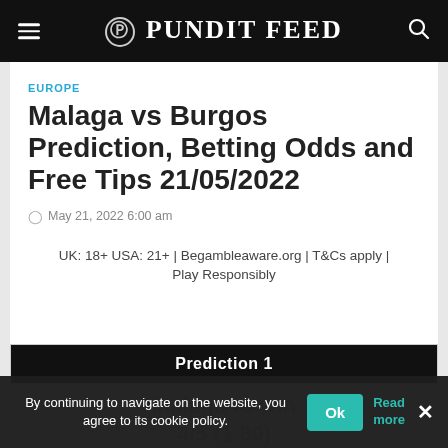Pundit Feed
EUROPE
Malaga vs Burgos Prediction, Betting Odds and Free Tips 21/05/2022
May 21, 2022 6:00 am
UK: 18+ USA: 21+ | Begambleaware.org | T&Cs apply | Play Responsibly
Prediction 1
Malaga to win
4/5 (1.80)
By continuing to navigate on the website, you agree to its cookie policy.